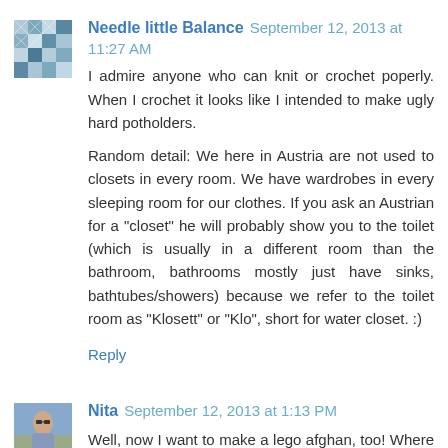Needle little Balance  September 12, 2013 at 11:27 AM
I admire anyone who can knit or crochet poperly. When I crochet it looks like I intended to make ugly hard potholders.

Random detail: We here in Austria are not used to closets in every room. We have wardrobes in every sleeping room for our clothes. If you ask an Austrian for a "closet" he will probably show you to the toilet (which is usually in a different room than the bathroom, bathrooms mostly just have sinks, bathtubes/showers) because we refer to the toilet room as "Klosett" or "Klo", short for water closet. :)
Reply
Nita  September 12, 2013 at 1:13 PM
Well, now I want to make a lego afghan, too! Where did you find the pattern?
Reply